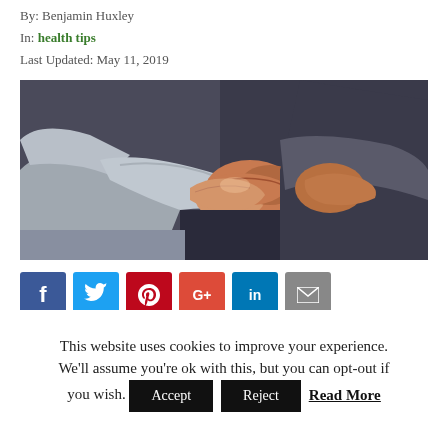By: Benjamin Huxley
In: health tips
Last Updated: May 11, 2019
[Figure (photo): Two people holding hands together, one wearing a grey long-sleeve shirt, in a supportive gesture — a health/wellness image.]
[Figure (infographic): Social media sharing buttons: Facebook (f), Twitter (bird), Pinterest (p), Google+ (g+), LinkedIn (in), Email (envelope)]
This website uses cookies to improve your experience. We'll assume you're ok with this, but you can opt-out if you wish. Accept  Reject  Read More